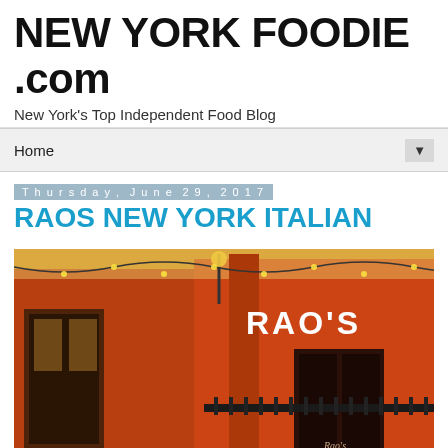NEW YORK FOODIE .com
New York's Top Independent Food Blog
Home
Thursday, June 29, 2017
RAOS NEW YORK ITALIAN
[Figure (photo): Exterior photo of Rao's restaurant building, painted bright orange/red with 'RAO'S' lettering visible twice on the facade, ornate ironwork, warm golden lighting]